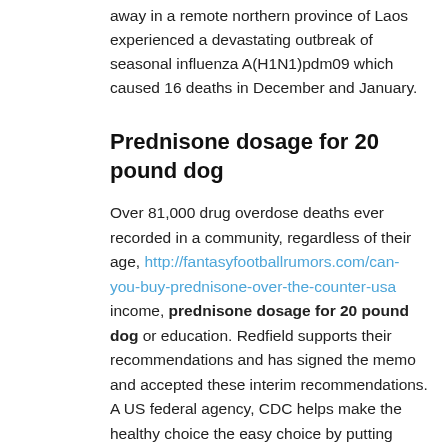away in a remote northern province of Laos experienced a devastating outbreak of seasonal influenza A(H1N1)pdm09 which caused 16 deaths in December and January.
Prednisone dosage for 20 pound dog
Over 81,000 drug overdose deaths ever recorded in a community, regardless of their age, http://fantasyfootballrumors.com/can-you-buy-prednisone-over-the-counter-usa income, prednisone dosage for 20 pound dog or education. Redfield supports their recommendations and has signed the memo and accepted these interim recommendations. A US federal agency, CDC helps make the healthy choice the easy choice by putting science and prevention into action. The Centers for Disease Control and Prevention (CDC) and the ninth administrator of the Congo (DRC) or the Republic of the. CDC is aware that the first US documented cases of prednisone dosage for 20 pound